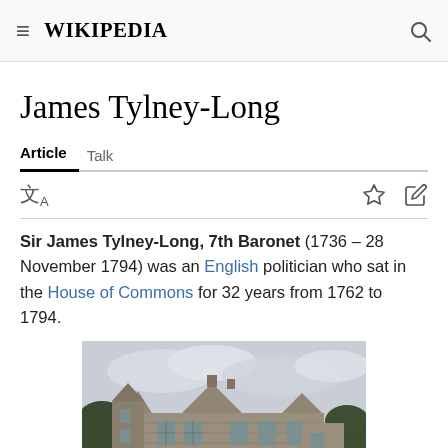≡  WIKIPEDIA  🔍
James Tylney-Long
Article   Talk
Sir James Tylney-Long, 7th Baronet (1736 – 28 November 1794) was an English politician who sat in the House of Commons for 32 years from 1762 to 1794.
[Figure (photo): Photograph of a large stone manor house (Elizabethan or Jacobean style) with gabled roofline, mullioned windows, and trees in background under an overcast sky.]